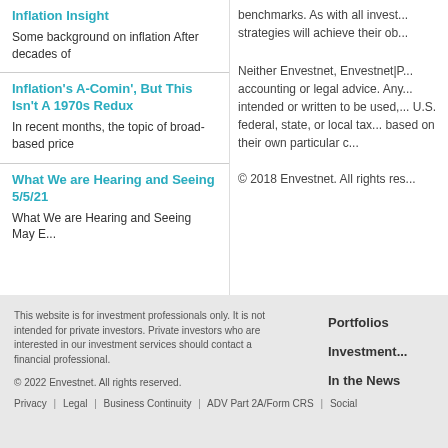Inflation Insight
Some background on inflation After decades of
Inflation's A-Comin', But This Isn't A 1970s Redux
In recent months, the topic of broad-based price
What We are Hearing and Seeing 5/5/21
What We are Hearing and Seeing May E...
benchmarks. As with all invest... strategies will achieve their ob...
Neither Envestnet, Envestnet|P... accounting or legal advice. Any... intended or written to be used,... U.S. federal, state, or local tax... based on their own particular c...
© 2018 Envestnet. All rights res...
This website is for investment professionals only. It is not intended for private investors. Private investors who are interested in our investment services should contact a financial professional.
© 2022 Envestnet. All rights reserved.
Privacy | Legal | Business Continuity | ADV Part 2A/Form CRS | Social
Portfolios
Investment...
In the News